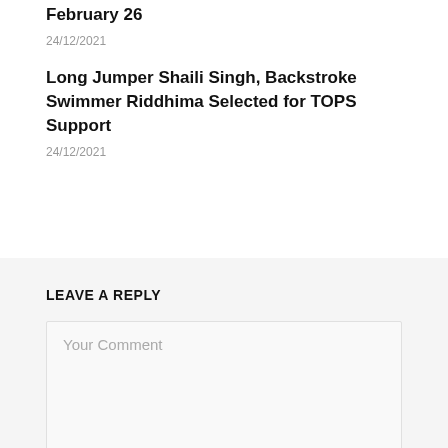February 26
24/12/2021
Long Jumper Shaili Singh, Backstroke Swimmer Riddhima Selected for TOPS Support
24/12/2021
LEAVE A REPLY
Your Comment